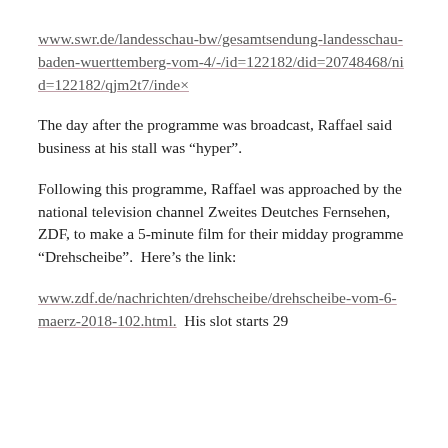www.swr.de/landesschau-bw/gesamtsendung-landesschau-baden-wuerttemberg-vom-4/-/id=122182/did=20748468/nid=122182/qjm2t7/index
The day after the programme was broadcast, Raffael said business at his stall was “hyper”.
Following this programme, Raffael was approached by the national television channel Zweites Deutches Fernsehen, ZDF, to make a 5-minute film for their midday programme “Drehscheibe”.  Here’s the link:
www.zdf.de/nachrichten/drehscheibe/drehscheibe-vom-6-maerz-2018-102.html.  His slot starts 29